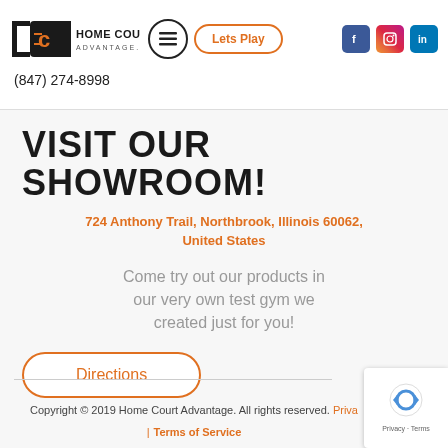[Figure (logo): Home Court Advantage logo with bracket icon, bold text HOME COURT and ADVANTAGE subtitle]
Lets Play
[Figure (illustration): Facebook, Instagram, LinkedIn social media icons in header]
(847) 274-8998
VISIT OUR SHOWROOM!
724 Anthony Trail, Northbrook, Illinois 60062, United States
Come try out our products in our very own test gym we created just for you!
Directions
Copyright © 2019 Home Court Advantage. All rights reserved. Privacy | Terms of Service